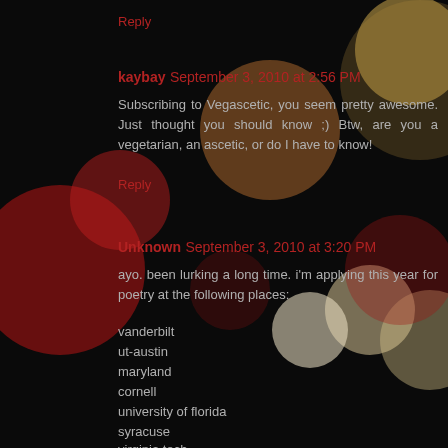Reply
kaybay  September 3, 2010 at 2:56 PM
Subscribing to Vegascetic, you seem pretty awesome. Just thought you should know ;) Btw, are you a vegetarian, an ascetic, or do I have to know!
Reply
Unknown  September 3, 2010 at 3:20 PM
ayo. been lurking a long time. i'm applying this year for poetry at the following places:
vanderbilt
ut-austin
maryland
cornell
university of florida
syracuse
virginia tech